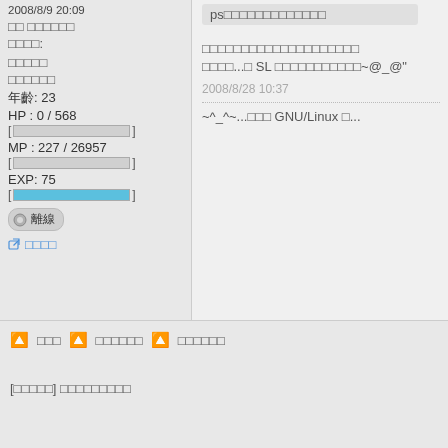2008/8/9 20:09
ps□□□□□□□□□□□□□
□□ □□□□□□
□□□□:
□□□□□
□□□□□□□□□□□□□□□□□□□□□□□□□□...□ SL □□□□□□□□□□□~@_@"
□□□□□□
年齡: 23
HP : 0 / 568
2008/8/28 10:37
MP : 227 / 26957
EXP: 75
~^_^~...□□□ GNU/Linux □...
離線
□□□□
🔼 □□□  🔼 □□□□□□  🔼 □□□□□□
[□□□□□] □□□□□□□□□